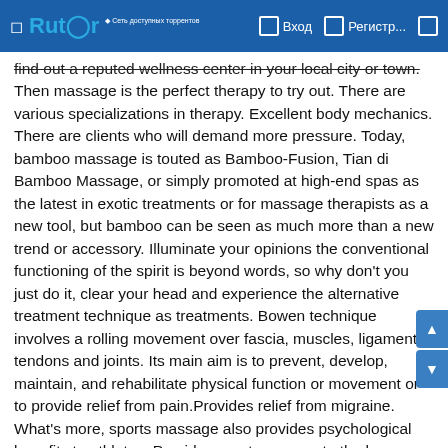Rutor — Вход — Регистр...
find out a reputed wellness center in your local city or town. Then massage is the perfect therapy to try out. There are various specializations in therapy. Excellent body mechanics. There are clients who will demand more pressure. Today, bamboo massage is touted as Bamboo-Fusion, Tian di Bamboo Massage, or simply promoted at high-end spas as the latest in exotic treatments or for massage therapists as a new tool, but bamboo can be seen as much more than a new trend or accessory. Illuminate your opinions the conventional functioning of the spirit is beyond words, so why don't you just do it, clear your head and experience the alternative treatment technique as treatments. Bowen technique involves a rolling movement over fascia, muscles, ligaments, tendons and joints. Its main aim is to prevent, develop, maintain, and rehabilitate physical function or movement or to provide relief from pain.Provides relief from migraine. What's more, sports massage also provides psychological benefits to athletes. Provides greater energy to the human system. Helps in releasing Endorphins which is a natural painkiller of the human body. It also cures individual psycho in a natural way. Are you looking for a way out of those